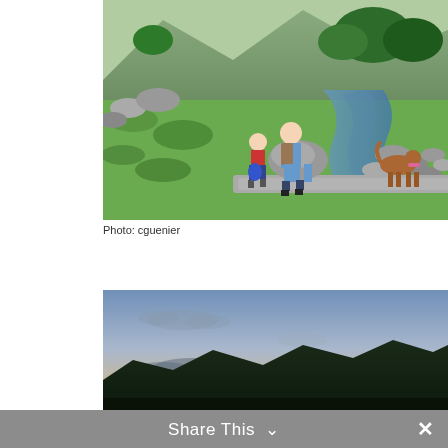[Figure (photo): Hikers walking across a stone bridge over a stream in a lush green valley with rocks and trees. A brown dog sits to the right. Mountains visible in background.]
Photo: cguenier
[Figure (photo): Panoramic landscape photo of a sunset or twilight sky with silhouetted hills/mountains at the bottom and blue-grey sky with light clouds.]
Share This ∨